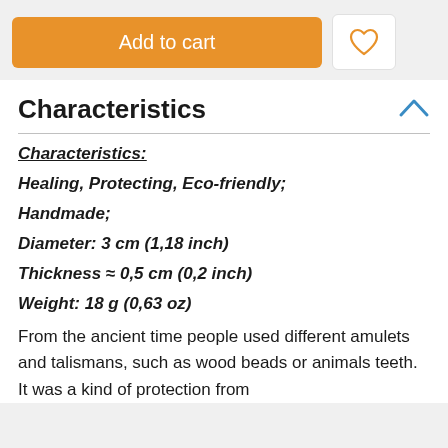Add to cart
Characteristics
Characteristics:
Healing, Protecting, Eco-friendly;
Handmade;
Diameter: 3 cm (1,18 inch)
Thickness ≈ 0,5 cm (0,2 inch)
Weight: 18 g (0,63 oz)
From the ancient time people used different amulets and talismans, such as wood beads or animals teeth. It was a kind of protection from